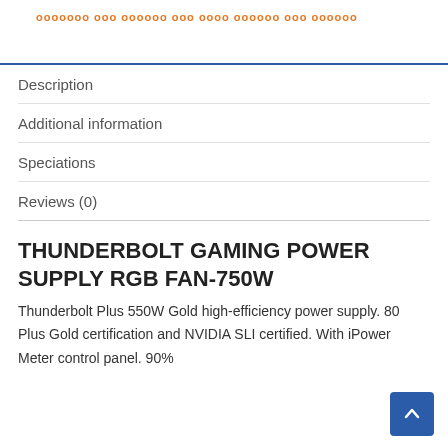ооооооо ооо оооооо ооо оооо оооооо ооо оооооо
Description
Additional information
Speciations
Reviews (0)
THUNDERBOLT GAMING POWER SUPPLY RGB FAN-750W
Thunderbolt Plus 550W Gold high-efficiency power supply. 80 Plus Gold certification and NVIDIA SLI certified. With iPower Meter control panel. 90%